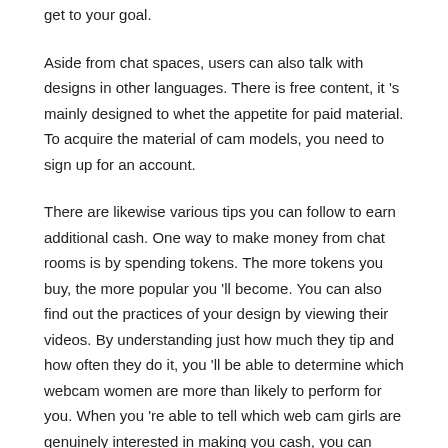get to your goal.
Aside from chat spaces, users can also talk with designs in other languages. There is free content, it 's mainly designed to whet the appetite for paid material. To acquire the material of cam models, you need to sign up for an account.
There are likewise various tips you can follow to earn additional cash. One way to make money from chat rooms is by spending tokens. The more tokens you buy, the more popular you 'll become. You can also find out the practices of your design by viewing their videos. By understanding just how much they tip and how often they do it, you 'll be able to determine which webcam women are more than likely to perform for you. When you 're able to tell which web cam girls are genuinely interested in making you cash, you can make a fantastic idea.
Chaturbate Moderators